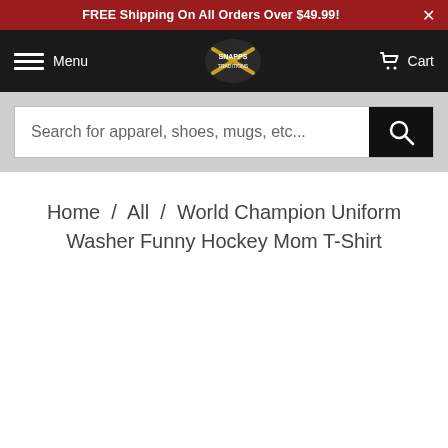FREE Shipping On All Orders Over $49.99!
Menu | [Logo] | Cart
[Figure (screenshot): Search bar with placeholder text: Search for apparel, shoes, mugs, etc...]
Home / All / World Champion Uniform Washer Funny Hockey Mom T-Shirt
[Figure (photo): Product image area (blank/not loaded)]